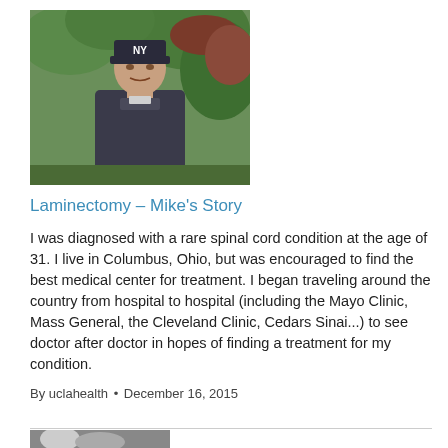[Figure (photo): A man wearing a NY Yankees baseball cap and dark jacket standing outdoors with tropical foliage in the background.]
Laminectomy – Mike's Story
I was diagnosed with a rare spinal cord condition at the age of 31. I live in Columbus, Ohio, but was encouraged to find the best medical center for treatment. I began traveling around the country from hospital to hospital (including the Mayo Clinic, Mass General, the Cleveland Clinic, Cedars Sinai...) to see doctor after doctor in hopes of finding a treatment for my condition.
By uclahealth • December 16, 2015
[Figure (photo): Partial view of another photo at the bottom of the page, cropped.]